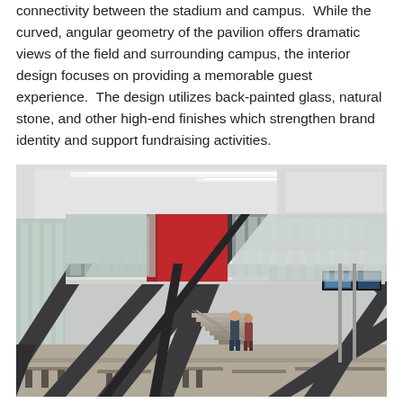connectivity between the stadium and campus. While the curved, angular geometry of the pavilion offers dramatic views of the field and surrounding campus, the interior design focuses on providing a memorable guest experience. The design utilizes back-painted glass, natural stone, and other high-end finishes which strengthen brand identity and support fundraising activities.
[Figure (photo): Interior photograph of a modern sports pavilion/stadium facility showing dramatic angular dark steel structural columns in an X-pattern, white ceiling with linear lighting, glass curtain walls, a mezzanine level with flat-screen TVs, stairs, and people walking in the open atrium space. Red accent walls visible in the background.]